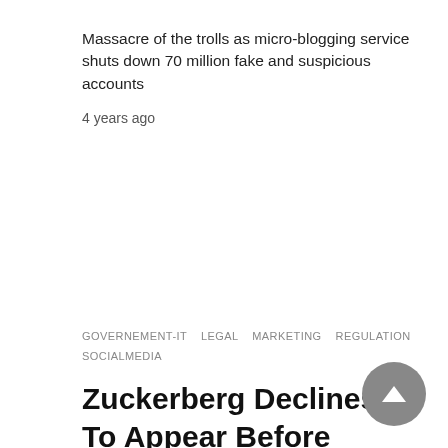Massacre of the trolls as micro-blogging service shuts down 70 million fake and suspicious accounts
4 years ago
GOVERNEMENT-IT   LEGAL   MARKETING   REGULATION   SOCIALMEDIA
Zuckerberg Declines To Appear Before Parliamentary Committee